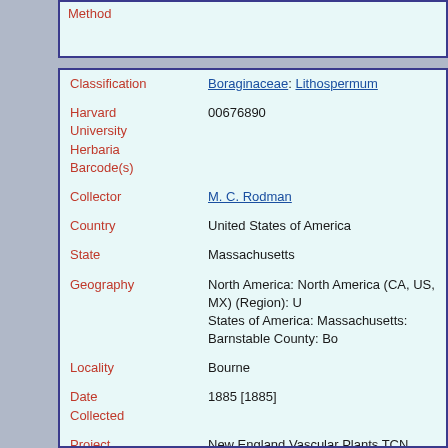| Field | Value |
| --- | --- |
| Classification | Boraginaceae: Lithospermum |
| Harvard University Herbaria Barcode(s) | 00676890 |
| Collector | M. C. Rodman |
| Country | United States of America |
| State | Massachusetts |
| Geography | North America: North America (CA, US, MX) (Region): United States of America: Massachusetts: Barnstable County: Bor... |
| Locality | Bourne |
| Date Collected | 1885 [1885] |
| Project | New England Vascular Plants TCN |
| GUID | http://purl.oclc.org/net/edu.harvard.huh/guid/uuid/8ab...4a71-11e5-b5e0-001ec9fd629b |
| Harvard University Herbaria | 00676890 |